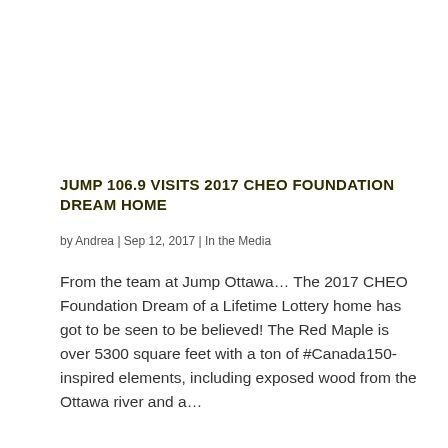JUMP 106.9 VISITS 2017 CHEO FOUNDATION DREAM HOME
by Andrea | Sep 12, 2017 | In the Media
From the team at Jump Ottawa… The 2017 CHEO Foundation Dream of a Lifetime Lottery home has got to be seen to be believed! The Red Maple is over 5300 square feet with a ton of #Canada150-inspired elements, including exposed wood from the Ottawa river and a…